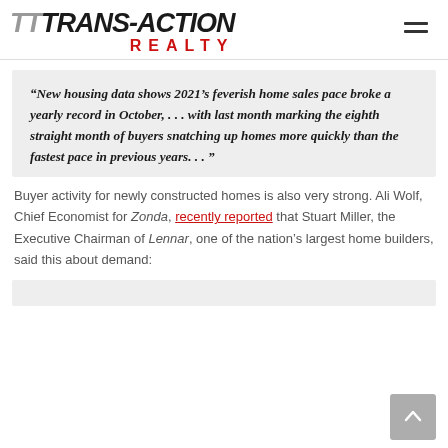[Figure (logo): Trans-Action Realty logo with stylized TT prefix in gray italic, TRANS-ACTION in bold black italic uppercase, and REALTY in red spaced capitals below]
“New housing data shows 2021’s feverish home sales pace broke a yearly record in October, . . . with last month marking the eighth straight month of buyers snatching up homes more quickly than the fastest pace in previous years. . . ”
Buyer activity for newly constructed homes is also very strong. Ali Wolf, Chief Economist for Zonda, recently reported that Stuart Miller, the Executive Chairman of Lennar, one of the nation’s largest home builders, said this about demand: